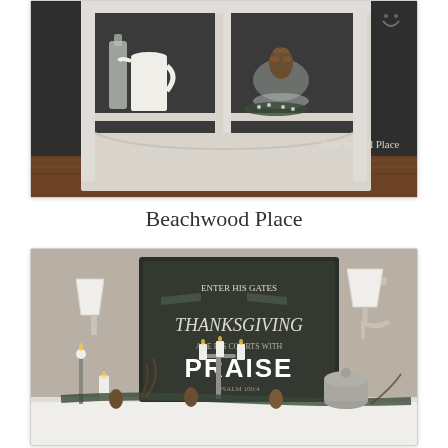[Figure (photo): A white painted cabinet/hutch with glass doors, styled with vintage glass bottles, white pitcher, pinecones, and winter botanical decorations on dark chalkboard-painted background. Watermark reads 'Beachwood Place'.]
Beachwood Place
[Figure (photo): A styled dining room sideboard/buffet with candles on silver candlesticks, pinecones, greenery, feathers, and a large chalkboard sign reading 'Enter His Gates Thanksgiving Are His Courts With PRAISE' with wall sconces on either side.]
Itsy Bits and Pieces